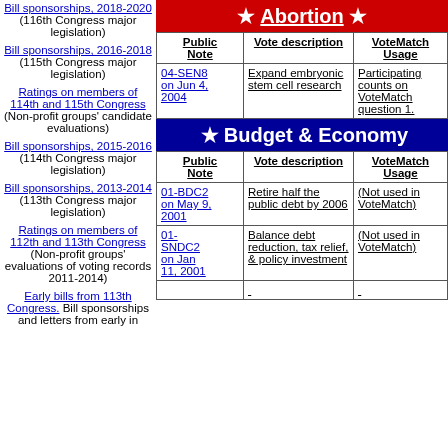Bill sponsorships, 2018-2020 (116th Congress major legislation)
Bill sponsorships, 2016-2018 (115th Congress major legislation)
Ratings on members of 114th and 115th Congress (Non-profit groups' candidate evaluations)
Bill sponsorships, 2015-2016 (114th Congress major legislation)
Bill sponsorships, 2013-2014 (113th Congress major legislation)
Ratings on members of 112th and 113th Congress (Non-profit groups' evaluations of voting records 2011-2014)
Early bills from 113th Congress. Bill sponsorships and letters from early in
★ Abortion ★
| Public Note | Vote description | VoteMatch Usage |
| --- | --- | --- |
| 04-SEN8 on Jun 4, 2004 | Expand embryonic stem cell research | Participating counts on VoteMatch question 1. |
★ Budget & Economy
| Public Note | Vote description | VoteMatch Usage |
| --- | --- | --- |
| 01-BDC2 on May 9, 2001 | Retire half the public debt by 2006 | (Not used in VoteMatch) |
| 01-SNDC2 on Jan 11, 2001 | Balance debt reduction, tax relief, & policy investment | (Not used in VoteMatch) |